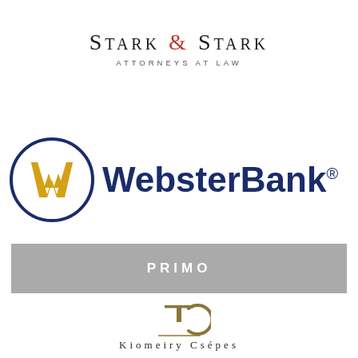[Figure (logo): Stark & Stark Attorneys at Law logo — serif company name with red ampersand and spaced subtitle]
[Figure (logo): Webster Bank logo — blue circle with gold W mark and bold dark blue WebsterBank wordmark with registered trademark symbol]
[Figure (logo): Primo logo — gray banner with white bold uppercase spaced text PRIMO]
[Figure (logo): Kiomeiry Csépes logo — stylized TC monogram above horizontal rule and company name in spaced serif caps]